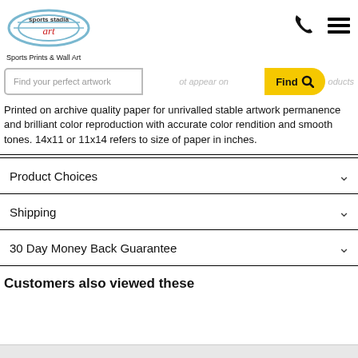[Figure (logo): Sports Stadia Art logo - dome/stadium shape with text 'sports stadia art' in script]
Sports Prints & Wall Art
Find your perfect artwork
Printed on archive quality paper for unrivalled stable artwork permanence and brilliant color reproduction with accurate color rendition and smooth tones. 14x11 or 11x14 refers to size of paper in inches.
Product Choices
Shipping
30 Day Money Back Guarantee
Customers also viewed these